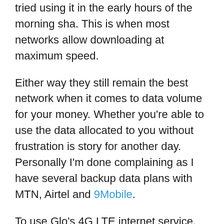tried using it in the early hours of the morning sha. This is when most networks allow downloading at maximum speed.
Either way they still remain the best network when it comes to data volume for your money. Whether you're able to use the data allocated to you without frustration is story for another day. Personally I'm done complaining as I have several backup data plans with MTN, Airtel and 9Mobile.
To use Glo's 4G LTE internet service, you would need to upgrade your sim card to a 4G LTE sim card as your old SIM card is stuck on 3G. You will also need to make sure that your mobile phone or internet modem supports Glo's 4G LTE Band 28, 700MHz network frequency.